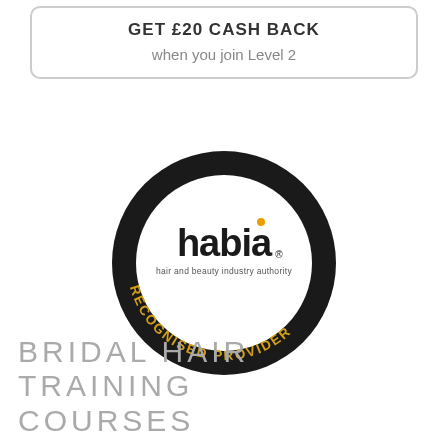GET £20 CASH BACK
when you join Level 2
[Figure (logo): Habia (hair and beauty industry authority) Recognised Provider circular logo. Black circular border with gold text reading RECOGNISED PROVIDER along the bottom arc, white center with habia wordmark in black and a small orange dot above the 'i', subtitle 'hair and beauty industry authority' in small text.]
BRIDAL HAIR TRAINING COURSES